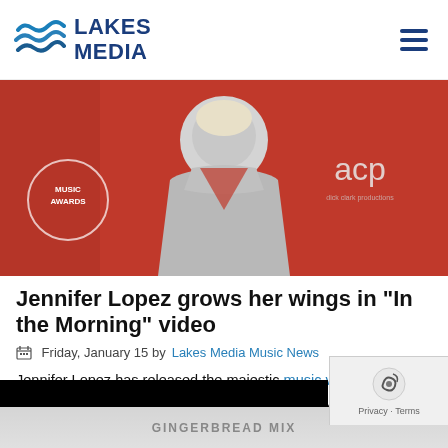LAKES MEDIA
[Figure (photo): Jennifer Lopez in a silver sparkly dress at American Music Awards on red carpet background with 'acp' (Dick Clark Productions) logo visible]
Jennifer Lopez grows her wings in “In the Morning” video
Friday, January 15 by Lakes Media Music News
Jennifer Lopez has released the majestic music video for her new song, “In the Morning.” The artistically shot visual begins with JLo sinking gracefully into an ocean, symbolizing a woman who has fallen into a… Read More.
[Figure (photo): Bottom portion showing gingerbread mix product packaging with yellow background]